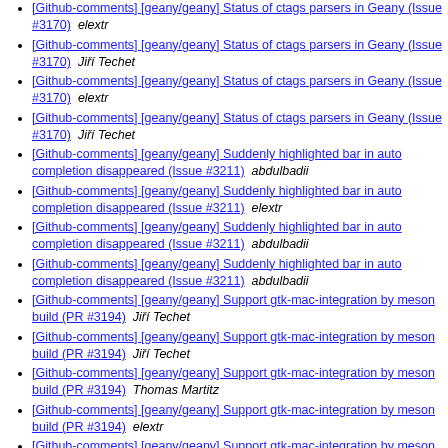[Github-comments] [geany/geany] Status of ctags parsers in Geany (Issue #3170)  elextr
[Github-comments] [geany/geany] Status of ctags parsers in Geany (Issue #3170)  Jiří Techet
[Github-comments] [geany/geany] Status of ctags parsers in Geany (Issue #3170)  elextr
[Github-comments] [geany/geany] Status of ctags parsers in Geany (Issue #3170)  Jiří Techet
[Github-comments] [geany/geany] Suddenly highlighted bar in auto completion disappeared (Issue #3211)  abdulbadii
[Github-comments] [geany/geany] Suddenly highlighted bar in auto completion disappeared (Issue #3211)  elextr
[Github-comments] [geany/geany] Suddenly highlighted bar in auto completion disappeared (Issue #3211)  abdulbadii
[Github-comments] [geany/geany] Suddenly highlighted bar in auto completion disappeared (Issue #3211)  abdulbadii
[Github-comments] [geany/geany] Support gtk-mac-integration by meson build (PR #3194)  Jiří Techet
[Github-comments] [geany/geany] Support gtk-mac-integration by meson build (PR #3194)  Jiří Techet
[Github-comments] [geany/geany] Support gtk-mac-integration by meson build (PR #3194)  Thomas Martitz
[Github-comments] [geany/geany] Support gtk-mac-integration by meson build (PR #3194)  elextr
[Github-comments] [geany/geany] Support gtk-mac-integration by meson build (PR #3194)  elextr